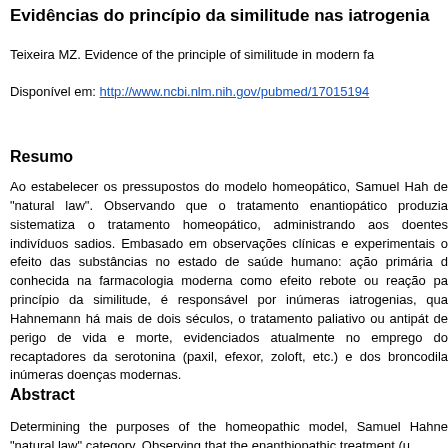Evidências do princípio da similitude nas iatrogenia...
Teixeira MZ. Evidence of the principle of similitude in modern fa...
Disponível em: http://www.ncbi.nlm.nih.gov/pubmed/17015194
Resumo
Ao estabelecer os pressupostos do modelo homeopático, Samuel Hah... de "natural law". Observando que o tratamento enantiopático produzia... sistematiza o tratamento homeopático, administrando aos doentes... indivíduos sadios. Embasado em observações clínicas e experimentais... o efeito das substâncias no estado de saúde humano: ação primária d... conhecida na farmacologia moderna como efeito rebote ou reação pa... princípio da similitude, é responsável por inúmeras iatrogenias, qua... Hahnemann há mais de dois séculos, o tratamento paliativo ou antipát... de perigo de vida e morte, evidenciados atualmente no emprego do... recaptadores da serotonina (paxil, efexor, zoloft, etc.) e dos broncodila... inúmeras doenças modernas.
Abstract
Determining the purposes of the homeopathic model, Samuel Hahne... "natural law" category. Observing that the enanthiopathic treatment (u...